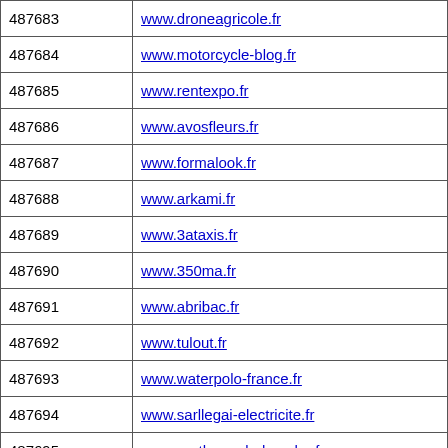| ID | URL |
| --- | --- |
| 487683 | www.droneagricole.fr |
| 487684 | www.motorcycle-blog.fr |
| 487685 | www.rentexpo.fr |
| 487686 | www.avosfleurs.fr |
| 487687 | www.formalook.fr |
| 487688 | www.arkami.fr |
| 487689 | www.3ataxis.fr |
| 487690 | www.350ma.fr |
| 487691 | www.abribac.fr |
| 487692 | www.tulout.fr |
| 487693 | www.waterpolo-france.fr |
| 487694 | www.sarllegai-electricite.fr |
| 487695 | www.prothese-de-hanche.fr |
| 487696 | www.scevia.fr |
| 487697 | www.equae.fr |
| 487698 | www.hotelbeaulac.fr |